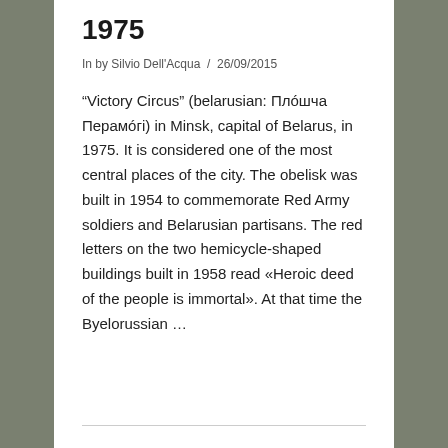1975
In by Silvio Dell'Acqua  /  26/09/2015
“Victory Circus” (belarusian: Плóшча Перамóгi) in Minsk, capital of Belarus, in 1975. It is considered one of the most central places of the city. The obelisk was built in 1954 to commemorate Red Army soldiers and Belarusian partisans. The red letters on the two hemicycle-shaped buildings built in 1958 read «Heroic deed of the people is immortal». At that time the Byelorussian ...